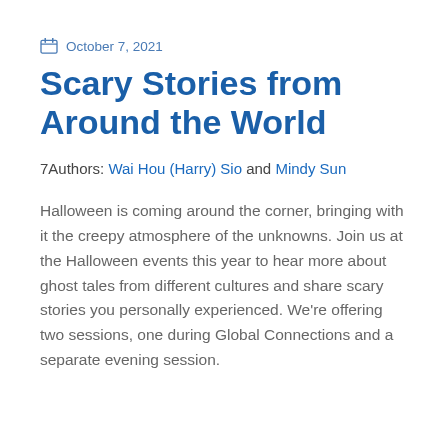October 7, 2021
Scary Stories from Around the World
7Authors: Wai Hou (Harry) Sio and Mindy Sun
Halloween is coming around the corner, bringing with it the creepy atmosphere of the unknowns. Join us at the Halloween events this year to hear more about ghost tales from different cultures and share scary stories you personally experienced. We're offering two sessions, one during Global Connections and a separate evening session.